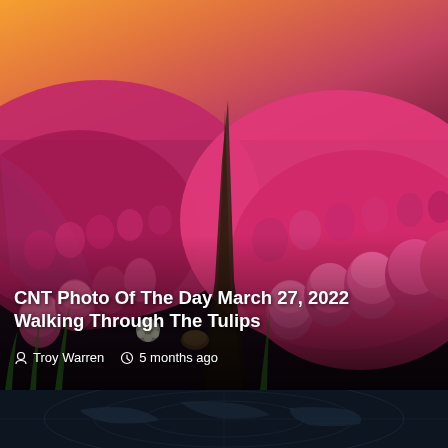[Figure (photo): Aerial/ground-level photograph of rows of pink and white tulips in a field at sunset/dusk, with a dirt path running between the rows. Warm orange and pink sky in background.]
CNT Photo Of The Day March 27, 2022 Walking Through The Tulips
Troy Warren   5 months ago
[Figure (photo): Partial view of a dark image (appears to be a map or satellite/radar image) at the bottom of the page, mostly cropped out.]